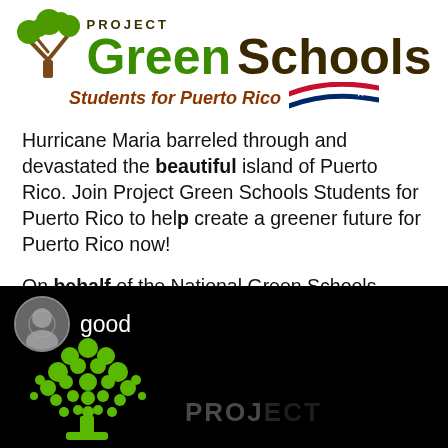[Figure (logo): Project Green Schools logo with tree icon, green 'Green' text, dark 'Schools' text, subtitle 'Students for Puerto Rico' with Puerto Rico flag swoosh graphic]
Hurricane Maria barreled through and devastated the beautiful island of Puerto Rico. Join Project Green Schools Students for Puerto Rico to help create a greener future for Puerto Rico now!
On behalf of the National Green Schools Society and Green Students everywhere, we need your support.
[Figure (screenshot): Black background screenshot showing a circular avatar photo, the word 'good' in white text, and a green circular-dots tree logo, with watermark text 'PROJECT' at the bottom]